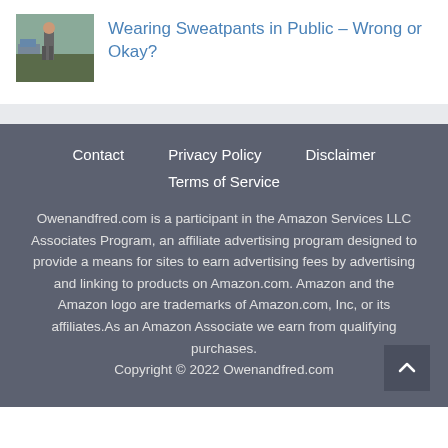[Figure (photo): Thumbnail image of a person wearing sweatpants outdoors on a street]
Wearing Sweatpants in Public – Wrong or Okay?
Contact   Privacy Policy   Disclaimer   Terms of Service

Owenandfred.com is a participant in the Amazon Services LLC Associates Program, an affiliate advertising program designed to provide a means for sites to earn advertising fees by advertising and linking to products on Amazon.com. Amazon and the Amazon logo are trademarks of Amazon.com, Inc, or its affiliates.As an Amazon Associate we earn from qualifying purchases.
Copyright © 2022 Owenandfred.com